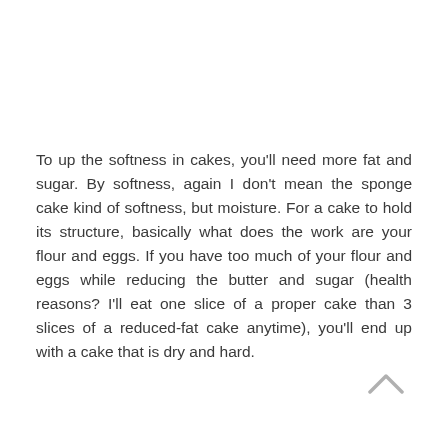To up the softness in cakes, you'll need more fat and sugar. By softness, again I don't mean the sponge cake kind of softness, but moisture. For a cake to hold its structure, basically what does the work are your flour and eggs. If you have too much of your flour and eggs while reducing the butter and sugar (health reasons? I'll eat one slice of a proper cake than 3 slices of a reduced-fat cake anytime), you'll end up with a cake that is dry and hard.
[Figure (other): A caret/chevron up arrow icon in light grey]